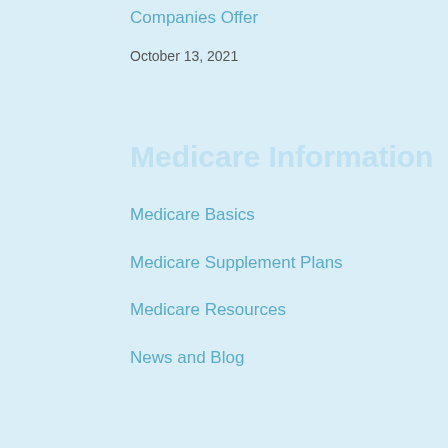Companies Offer
October 13, 2021
Medicare Information
Medicare Basics
Medicare Supplement Plans
Medicare Resources
News and Blog
About Us
We Are Passionate About Providing Peace of Mind
Call us: 1-972-236-3348
Contact us